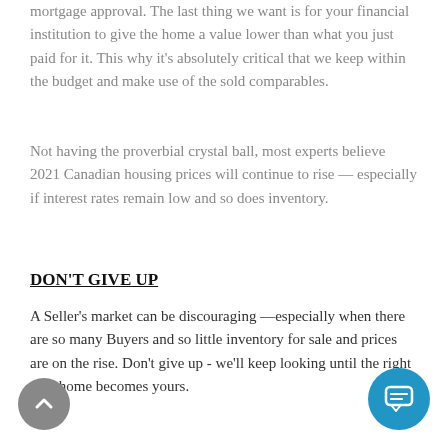mortgage approval. The last thing we want is for your financial institution to give the home a value lower than what you just paid for it. This why it's absolutely critical that we keep within the budget and make use of the sold comparables.
Not having the proverbial crystal ball, most experts believe 2021 Canadian housing prices will continue to rise — especially if interest rates remain low and so does inventory.
DON'T GIVE UP
A Seller's market can be discouraging —especially when there are so many Buyers and so little inventory for sale and prices are on the rise. Don't give up - we'll keep looking until the right new home becomes yours.